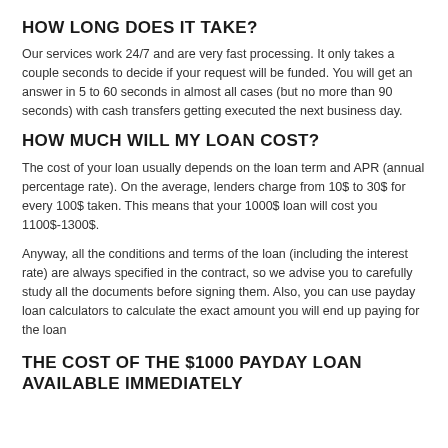HOW LONG DOES IT TAKE?
Our services work 24/7 and are very fast processing. It only takes a couple seconds to decide if your request will be funded. You will get an answer in 5 to 60 seconds in almost all cases (but no more than 90 seconds) with cash transfers getting executed the next business day.
HOW MUCH WILL MY LOAN COST?
The cost of your loan usually depends on the loan term and APR (annual percentage rate). On the average, lenders charge from 10$ to 30$ for every 100$ taken. This means that your 1000$ loan will cost you 1100$-1300$.
Anyway, all the conditions and terms of the loan (including the interest rate) are always specified in the contract, so we advise you to carefully study all the documents before signing them. Also, you can use payday loan calculators to calculate the exact amount you will end up paying for the loan
THE COST OF THE $1000 PAYDAY LOAN AVAILABLE IMMEDIATELY